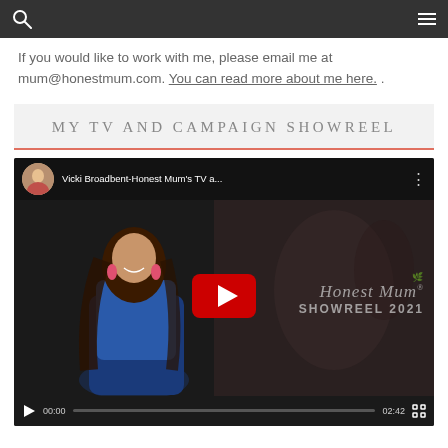Navigation bar with search and menu icons
If you would like to work with me, please email me at mum@honestmum.com. You can read more about me here.
MY TV AND CAMPAIGN SHOWREEL
[Figure (screenshot): YouTube video embed showing Vicki Broadbent - Honest Mum's TV and Campaign Showreel 2021. Video thumbnail shows a woman in a blue dress with long brown hair. The YouTube play button is visible in the center along with 'Honest Mum SHOWREEL 2021' text overlay. Video controls show 00:00 start time and 02:42 duration.]